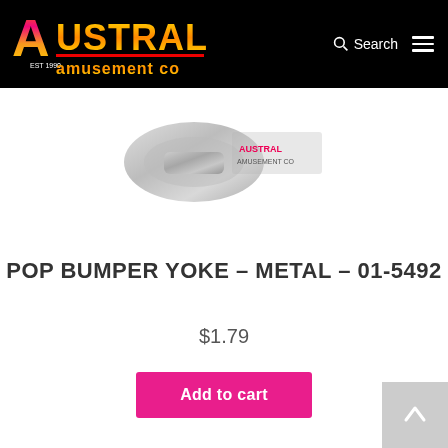[Figure (logo): Austral Amusement Co logo on black header bar with Search icon and hamburger menu]
[Figure (photo): Product image area showing a metal pop bumper yoke part with Austral Amusement Co watermark logo]
POP BUMPER YOKE – METAL – 01-5492
$1.79
Add to cart